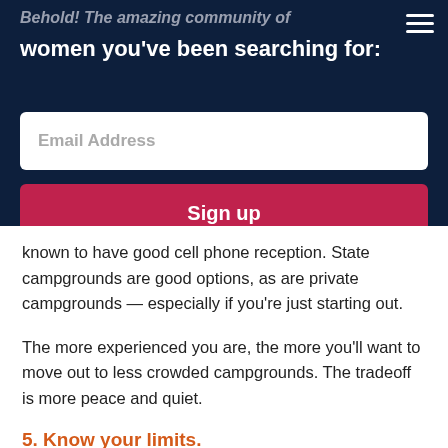Behold! The amazing community of women you've been searching for:
Email Address
Sign up
known to have good cell phone reception. State campgrounds are good options, as are private campgrounds — especially if you're just starting out.
The more experienced you are, the more you'll want to move out to less crowded campgrounds. The tradeoff is more peace and quiet.
5. Know your limits.
Start small, with a day hike so that you can become familiar with the yourself and your environment.